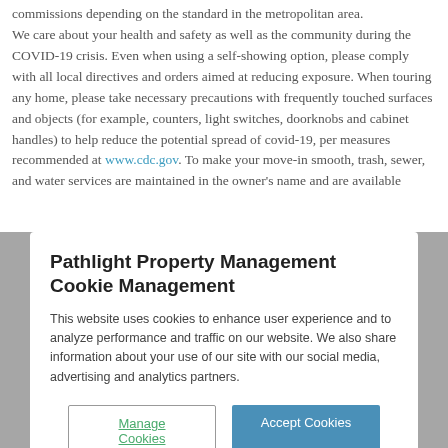commissions depending on the standard in the metropolitan area. We care about your health and safety as well as the community during the COVID-19 crisis. Even when using a self-showing option, please comply with all local directives and orders aimed at reducing exposure. When touring any home, please take necessary precautions with frequently touched surfaces and objects (for example, counters, light switches, doorknobs and cabinet handles) to help reduce the potential spread of covid-19, per measures recommended at www.cdc.gov. To make your move-in smooth, trash, sewer, and water services are maintained in the owner's name and are available
Pathlight Property Management Cookie Management
This website uses cookies to enhance user experience and to analyze performance and traffic on our website. We also share information about your use of our site with our social media, advertising and analytics partners.
Manage Cookies
Accept Cookies